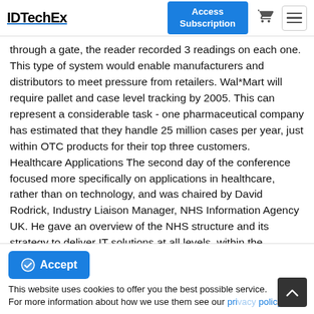IDTechEx | Access Subscription
through a gate, the reader recorded 3 readings on each one. This type of system would enable manufacturers and distributors to meet pressure from retailers. Wal*Mart will require pallet and case level tracking by 2005. This can represent a considerable task - one pharmaceutical company has estimated that they handle 25 million cases per year, just within OTC products for their top three customers. Healthcare Applications The second day of the conference focused more specifically on applications in healthcare, rather than on technology, and was chaired by David Rodrick, Industry Liaison Manager, NHS Information Agency UK. He gave an overview of the NHS structure and its strategy to deliver IT solutions at all levels, within the
Accept
This website uses cookies to offer you the best possible service. For more information about how we use them see our privacy policy.